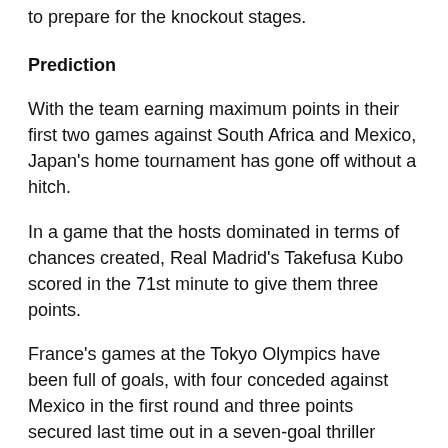to prepare for the knockout stages.
Prediction
With the team earning maximum points in their first two games against South Africa and Mexico, Japan's home tournament has gone off without a hitch.
In a game that the hosts dominated in terms of chances created, Real Madrid's Takefusa Kubo scored in the 71st minute to give them three points.
France's games at the Tokyo Olympics have been full of goals, with four conceded against Mexico in the first round and three points secured last time out in a seven-goal thriller against South Africa.
Japan has all but secured a place in the quarter-finals and